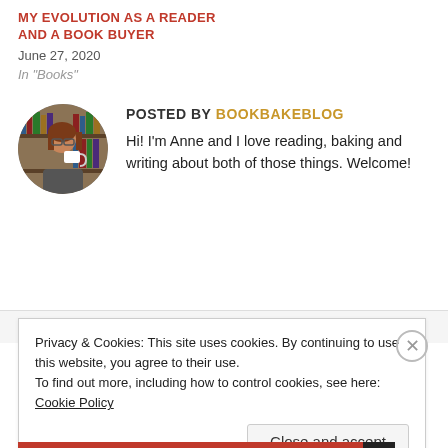MY EVOLUTION AS A READER AND A BOOK BUYER
June 27, 2020
In "Books"
[Figure (photo): Circular avatar photo of Anne, a woman with red/brown hair drinking from a mug, with bookshelves in the background]
POSTED BY BOOKBAKEBLOG
Hi! I'm Anne and I love reading, baking and writing about both of those things. Welcome!
Privacy & Cookies: This site uses cookies. By continuing to use this website, you agree to their use.
To find out more, including how to control cookies, see here: Cookie Policy
Close and accept